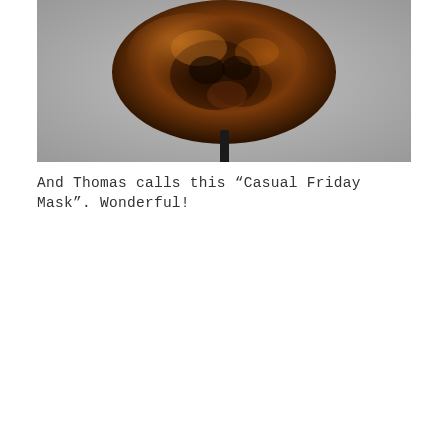[Figure (photo): A bronze or copper-patinated sculptural mask mounted on a dark metal pole/stand, photographed against a neutral gray background. The mask appears textured and organic, with dark and reddish-brown tones.]
And Thomas calls this “Casual Friday Mask”. Wonderful!